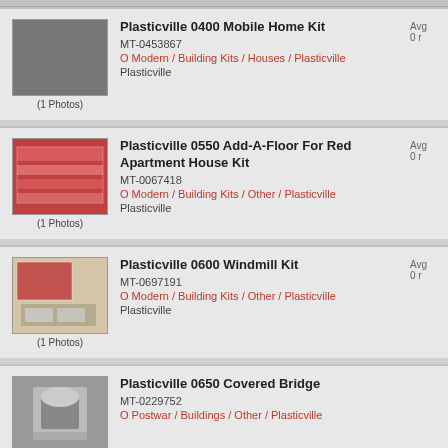Plasticville 0400 Mobile Home Kit
MT-0453867
O Modern / Building Kits / Houses / Plasticville
Plasticville
(1 Photos)
Plasticville 0550 Add-A-Floor For Red Apartment House Kit
MT-0067418
O Modern / Building Kits / Other / Plasticville
Plasticville
(1 Photos)
Plasticville 0600 Windmill Kit
MT-0697191
O Modern / Building Kits / Other / Plasticville
Plasticville
(1 Photos)
Plasticville 0650 Covered Bridge
MT-0229752
O Postwar / Buildings / Other / Plasticville